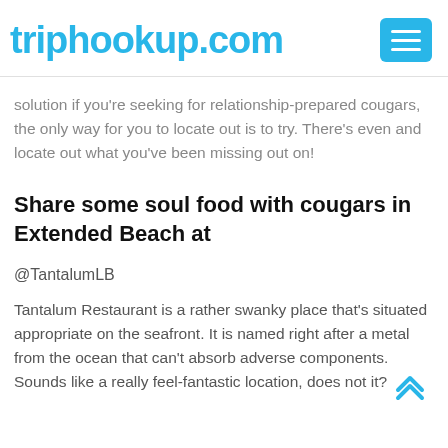triphookup.com
solution if you're seeking for relationship-prepared cougars, the only way for you to locate out is to try. There's even and locate out what you've been missing out on!
Share some soul food with cougars in Extended Beach at
@TantalumLB
Tantalum Restaurant is a rather swanky place that's situated appropriate on the seafront. It is named right after a metal from the ocean that can't absorb adverse components. Sounds like a really feel-fantastic location, does not it?